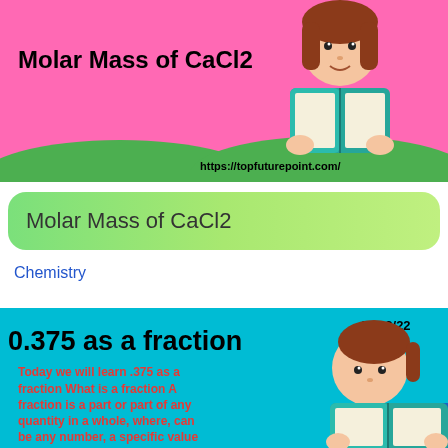[Figure (illustration): Cartoon girl reading a book on a pink and green background with text 'Molar Mass of CaCl2' and URL 'https://topfuturepoint.com/']
Molar Mass of CaCl2
Chemistry
[Figure (illustration): Cartoon girl reading a book on a teal background with title '0.375 as a fraction', date '16/02/22', and descriptive text about fractions in red/orange color]